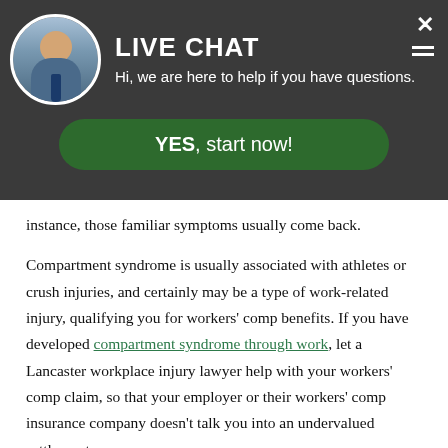[Figure (screenshot): Live chat popup with avatar of a man in a suit, title 'LIVE CHAT', subtitle 'Hi, we are here to help if you have questions.', a green 'YES, start now!' button, and a close X button in the top right.]
instance, those familiar symptoms usually come back.
Compartment syndrome is usually associated with athletes or crush injuries, and certainly may be a type of work-related injury, qualifying you for workers’ comp benefits. If you have developed compartment syndrome through work, let a Lancaster workplace injury lawyer help with your workers’ comp claim, so that your employer or their workers’ comp insurance company doesn’t talk you into an undervalued settlement.
The Serious Nature of Compartment Syndrome
If you’ve ever disregarded a simple sprained ankle or stubbed toe suffered at work, but then began to feel a fairly severe and uncomfortable pressure around the area hours later, this